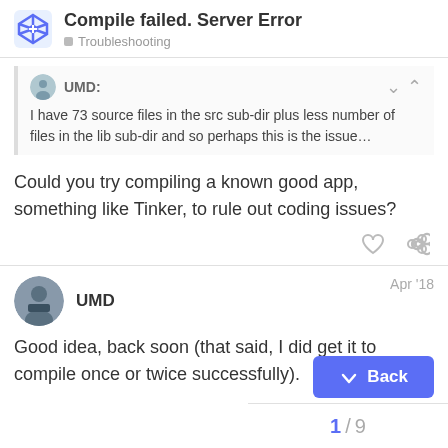Compile failed. Server Error | Troubleshooting
UMD: I have 73 source files in the src sub-dir plus less number of files in the lib sub-dir and so perhaps this is the issue…
Could you try compiling a known good app, something like Tinker, to rule out coding issues?
UMD  Apr '18
Good idea, back soon (that said, I did get it to compile once or twice successfully).